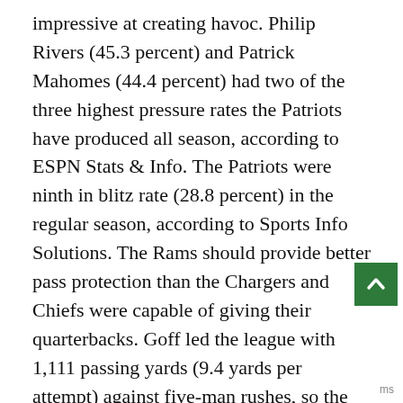impressive at creating havoc. Philip Rivers (45.3 percent) and Patrick Mahomes (44.4 percent) had two of the three highest pressure rates the Patriots have produced all season, according to ESPN Stats & Info. The Patriots were ninth in blitz rate (28.8 percent) in the regular season, according to Sports Info Solutions. The Rams should provide better pass protection than the Chargers and Chiefs were capable of giving their quarterbacks. Goff led the league with 1,111 passing yards (9.4 yards per attempt) against five-man rushes, so the Patriots will have to choose their spots in this matchup.
Goff does have a tendency to hold the ball long. According to ESPN Stats & Info, Goff's average time before pass is 2.96 seconds, the fourth-longest mark in 2018. He's held the ball for an average of at least 2.8 seconds in 15 of the 18 games, and his lowest game was 2.69 seconds (the 30-23 loss vs.